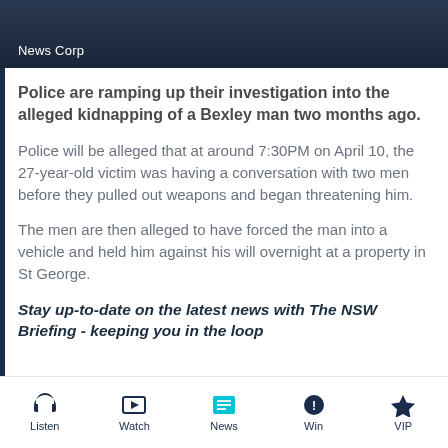[Figure (photo): Dark background image with 'News Corp' label overlay in white text]
Police are ramping up their investigation into the alleged kidnapping of a Bexley man two months ago.
Police will be alleged that at around 7:30PM on April 10, the 27-year-old victim was having a conversation with two men before they pulled out weapons and began threatening him.
The men are then alleged to have forced the man into a vehicle and held him against his will overnight at a property in St George.
Stay up-to-date on the latest news with The NSW Briefing - keeping you in the loop
Listen | Watch | News | Win | VIP